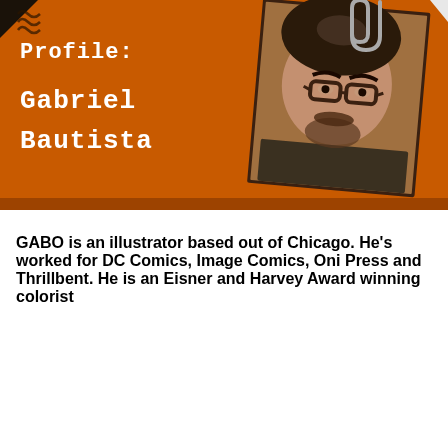[Figure (photo): Profile banner with orange/brown background showing 'Profile: Gabriel Bautista' in typewriter font on the left, and a photo of a man wearing glasses on the right, with a paperclip graphic at the top]
GABO is an illustrator based out of Chicago. He’s worked for DC Comics, Image Comics, Oni Press and Thrillbent. He is an Eisner and Harvey Award winning colorist